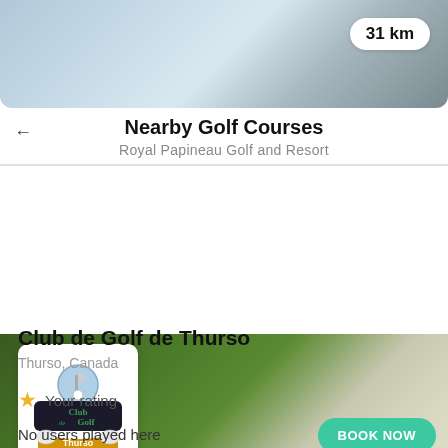[Figure (photo): Top banner showing a sky/golf course landscape with a distance badge reading '31 km' in the upper right]
31 km
Nearby Golf Courses
Royal Papineau Golf and Resort
[Figure (photo): Golf course banner image with a green fairway background and a white logo box showing 'Club de Golf Thurso' logo]
Club de Golf de Thurso
Thurso, Canada
Your rating
No users played here
BOOK NOW